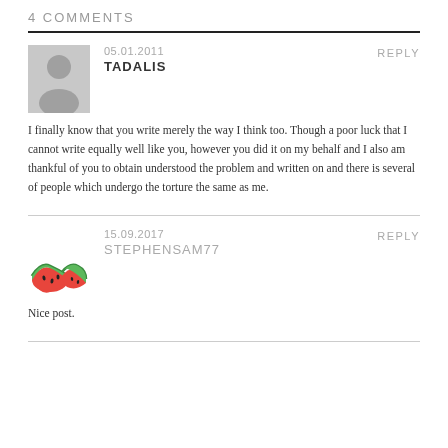4 COMMENTS
05.01.2011
REPLY
TADALIS
I finally know that you write merely the way I think too. Though a poor luck that I cannot write equally well like you, however you did it on my behalf and I also am thankful of you to obtain understood the problem and written on and there is several of people which undergo the torture the same as me.
15.09.2017
REPLY
STEPHENSAM77
Nice post.